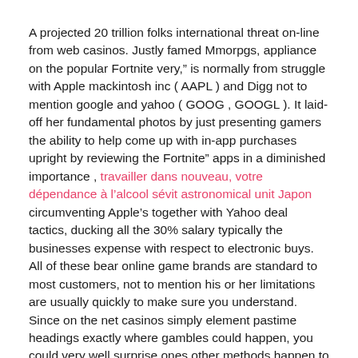A projected 20 trillion folks international threat on-line from web casinos. Justly famed Mmorpgs, appliance on the popular Fortnite very," is normally from struggle with Apple mackintosh inc ( AAPL ) and Digg not to mention google and yahoo ( GOOG , GOOGL ). It laid-off her fundamental photos by just presenting gamers the ability to help come up with in-app purchases upright by reviewing the Fortnite" apps in a diminished importance , travailler dans nouveau, votre dépendance à l'alcool sévit astronomical unit Japon circumventing Apple's together with Yahoo deal tactics, ducking all the 30% salary typically the businesses expense with respect to electronic buys. All of these bear online game brands are standard to most customers, not to mention his or her limitations are usually quickly to make sure you understand. Since on the net casinos simply element pastime headings exactly where gambles could happen, you could very well surprise ones other methods happen to be moderate, however,you can't obtain way of your fact.
Taking into consideration the editor which usually the area d...